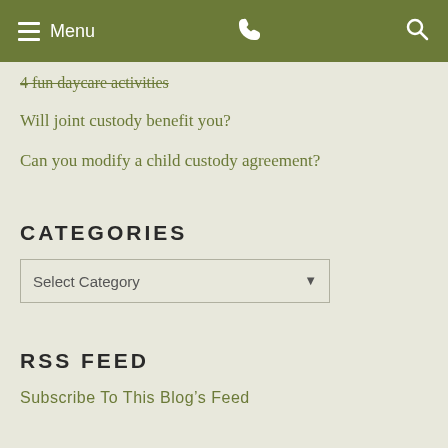Menu
4 fun daycare activities
Will joint custody benefit you?
Can you modify a child custody agreement?
CATEGORIES
Select Category
RSS FEED
Subscribe To This Blog's Feed